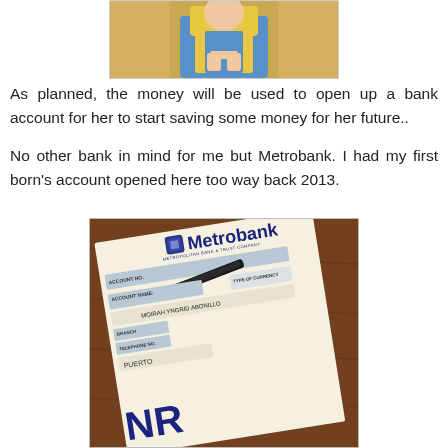[Figure (photo): Partial photo of a child in yellow and blue dress/costume, showing torso and clasped hands]
As planned, the money will be used to open up a bank account for her to start saving some money for her future..
No other bank in mind for me but Metrobank. I had my first born's account opened here too way back 2013.
[Figure (photo): Photo of a Metrobank passbook/account form on a wooden table, showing Metrobank logo and account fields including ACCOUNT NO., ACCOUNT NAME: MOIRAH YNGRID ABONILLO, BRANCH, TELEPHONE NO., PUERTO, TYPE OF CURRENCY, and NR printed at bottom]